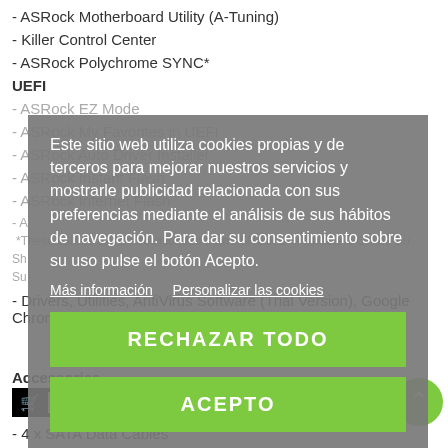- ASRock Motherboard Utility (A-Tuning)
- Killer Control Center
- ASRock Polychrome SYNC*
UEFI
- ASRock EZ Mode
- ASRock My Favorites in UEFI
- ASRock Auto Driver Installer
- ASRock Instant Flash
- ASRock Internet Flash
[Figure (screenshot): Cookie consent overlay dialog in Spanish with grey background. Contains cookie notice text, links for 'Más información' and 'Personalizar las cookies', and two green buttons: 'RECHAZAR TODO' and 'ACEPTO'.]
*These utilities can be downloaded from ASRock Live Update & Online Suite.
- Drivers, Utilities, AntiVirus Software (Trial Version), Google Chrome Browser and Toolbar
Accessories
Installation Guide, Support CD
- 4 x SATA Data Cables